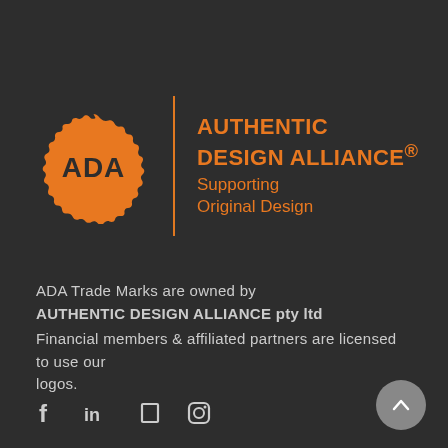[Figure (logo): ADA (Authentic Design Alliance) logo: orange badge/seal with ADA text, vertical orange divider line, then orange text reading AUTHENTIC DESIGN ALLIANCE® Supporting Original Design]
ADA Trade Marks are owned by
AUTHENTIC DESIGN ALLIANCE pty ltd
Financial members & affiliated partners are licensed to use our logos.
[Figure (infographic): Social media icons: Facebook (f), LinkedIn (in), a square icon, Instagram (circle with square outline)]
[Figure (other): Gray circular back-to-top button with upward chevron arrow]